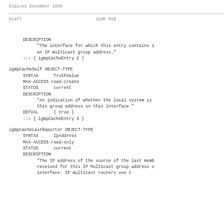Expires December 1996
Draft                                    IGMP MIB
DESCRIPTION
            "The interface for which this entry contains i
            an IP multicast group address."
    ::= { igmpCacheEntry 2 }
igmpCacheSelf OBJECT-TYPE
    SYNTAX      TruthValue
    MAX-ACCESS read-create
    STATUS      current
    DESCRIPTION
            "An indication of whether the local system is
            this group address on this interface."
    DEFVAL      { true }
    ::= { igmpCacheEntry 3 }
igmpCacheLastReporter OBJECT-TYPE
    SYNTAX      IpAddress
    MAX-ACCESS read-only
    STATUS      current
    DESCRIPTION
            "The IP address of the source of the last memb
            received for this IP Multicast group address o
            interface. IP multicast routers use t